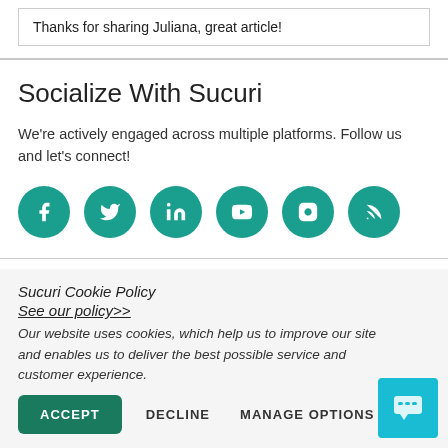Thanks for sharing Juliana, great article!
Socialize With Sucuri
We're actively engaged across multiple platforms. Follow us and let's connect!
[Figure (illustration): Six teal circular social media icons: Facebook, Twitter, LinkedIn, YouTube, Instagram, RSS]
Sucuri Cookie Policy
See our policy>>
Our website uses cookies, which help us to improve our site and enables us to deliver the best possible service and customer experience.
ACCEPT   DECLINE   MANAGE OPTIONS